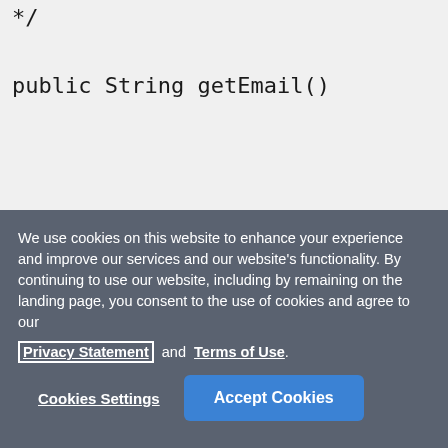*/
public String getEmail()


/**
* Get the current lifecycle state of t
* @return The lifecycle state
*/
public String getLifecycleState()
We use cookies on this website to enhance your experience and improve our services and our website's functionality. By continuing to use our website, including by remaining on the landing page, you consent to the use of cookies and agree to our Privacy Statement and Terms of Use.
Cookies Settings   Accept Cookies